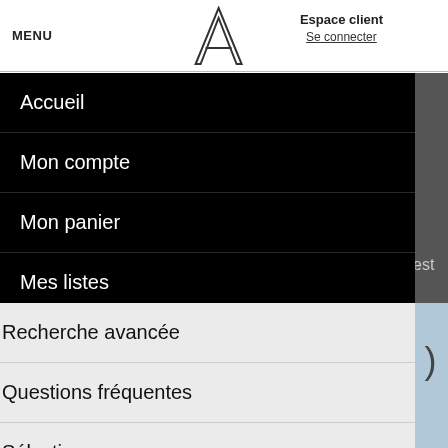MENU | [Logo A] | Espace client / Se connecter
Accueil
Mon compte
Mon panier
Mes listes
Mes commandes
Recherche avancée
Questions fréquentes
Sélections